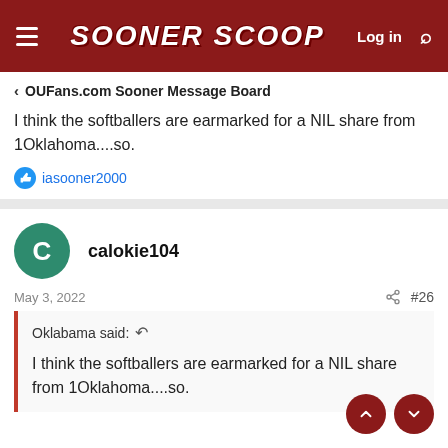SOONER SCOOP
OUFans.com Sooner Message Board
I think the softballers are earmarked for a NIL share from 1Oklahoma....so.
iasooner2000
calokie104
May 3, 2022
#26
Oklabama said:
I think the softballers are earmarked for a NIL share from 1Oklahoma....so.